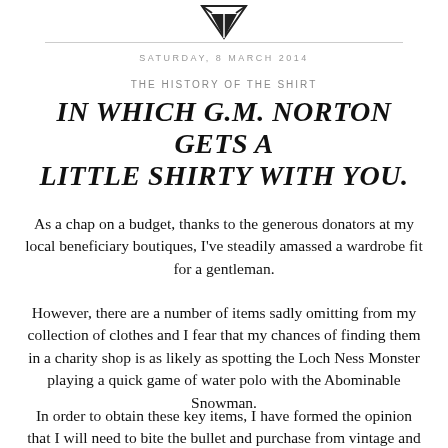[Figure (logo): Pen nib logo graphic at top center of page]
SATURDAY, 8 MARCH 2014
THE HISTORY OF THE SHIRT
IN WHICH G.M. NORTON GETS A LITTLE SHIRTY WITH YOU.
As a chap on a budget, thanks to the generous donators at my local beneficiary boutiques, I've steadily amassed a wardrobe fit for a gentleman.
However, there are a number of items sadly omitting from my collection of clothes and I fear that my chances of finding them in a charity shop is as likely as spotting the Loch Ness Monster playing a quick game of water polo with the Abominable Snowman.
In order to obtain these key items, I have formed the opinion that I will need to bite the bullet and purchase from vintage and reproduction clothing emporiums.